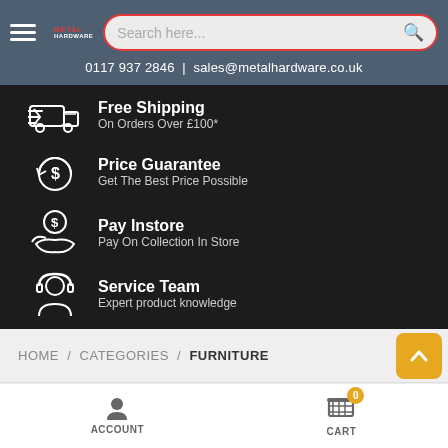Metal Hardware - Search here... | 0117 937 2846 | sales@metalhardware.co.uk
[Figure (infographic): Four feature icons with text: Free Shipping (truck icon) On Orders Over £100*, Price Guarantee (dollar/refresh icon) Get The Best Price Possible, Pay Instore (coin/hand icon) Pay On Collection In Store, Service Team (headset/person icon) Expert product knowledge]
HOME / CATEGORIES / FURNITURE
ACCOUNT | CART 0